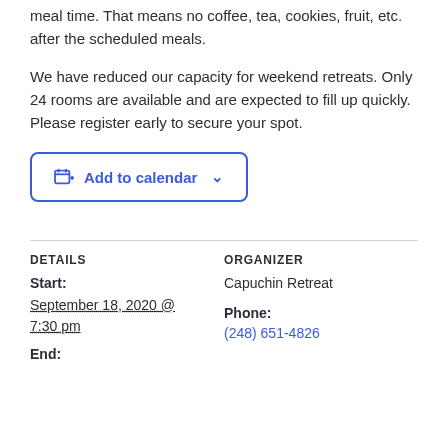meal time. That means no coffee, tea, cookies, fruit, etc. after the scheduled meals.
We have reduced our capacity for weekend retreats. Only 24 rooms are available and are expected to fill up quickly. Please register early to secure your spot.
[Figure (other): Add to calendar button with calendar icon and chevron]
DETAILS
ORGANIZER
Start:
Capuchin Retreat
September 18, 2020 @ 7:30 pm
Phone:
(248) 651-4826
End: